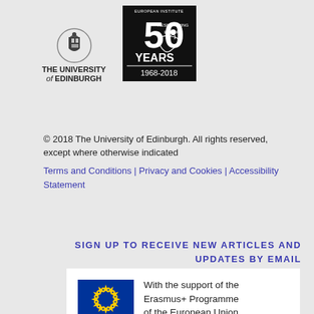[Figure (logo): University of Edinburgh crest and wordmark with shield/crest above text THE UNIVERSITY of EDINBURGH]
[Figure (logo): 50 Years Researching Europe 1968-2018 badge in black with Europe map silhouette]
© 2018 The University of Edinburgh. All rights reserved, except where otherwise indicated
Terms and Conditions | Privacy and Cookies | Accessibility Statement
[Figure (logo): EU flag and Erasmus+ Programme support banner: 'With the support of the Erasmus+ Programme of the European Union']
SIGN UP TO RECEIVE NEW ARTICLES AND UPDATES BY EMAIL